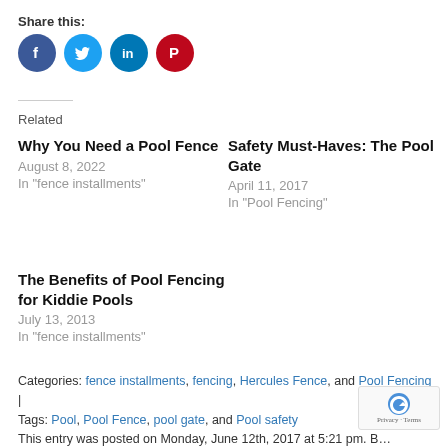Share this:
[Figure (infographic): Four social media share buttons: Facebook (dark blue circle with f icon), Twitter (light blue circle with bird icon), LinkedIn (dark teal circle with 'in' icon), Pinterest (red circle with P icon)]
Related
Why You Need a Pool Fence
August 8, 2022
In "fence installments"
Safety Must-Haves: The Pool Gate
April 11, 2017
In "Pool Fencing"
The Benefits of Pool Fencing for Kiddie Pools
July 13, 2013
In "fence installments"
Categories: fence installments, fencing, Hercules Fence, and Pool Fencing | Tags: Pool, Pool Fence, pool gate, and Pool safety
This entry was posted on Monday, June 12th, 2017 at 5:21 pm. Both comments and pings are currently closed.